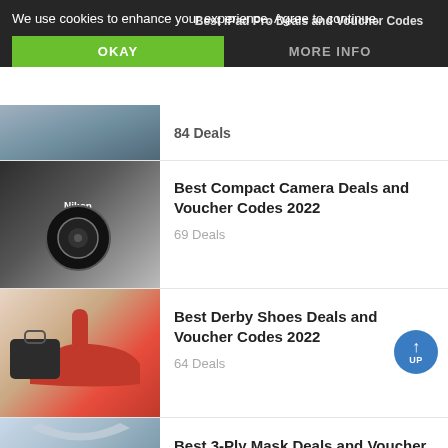We use cookies to enhance your experience. Agree to continue.
OKAY
MORE INFO
Best iPad Pro Deals and Voucher Codes
84 Deals
Best Compact Camera Deals and Voucher Codes 2022
69 Deals
Best Derby Shoes Deals and Voucher Codes 2022
64 Deals
Best 3-Ply Mask Deals and Voucher Codes 2022
45 Deals